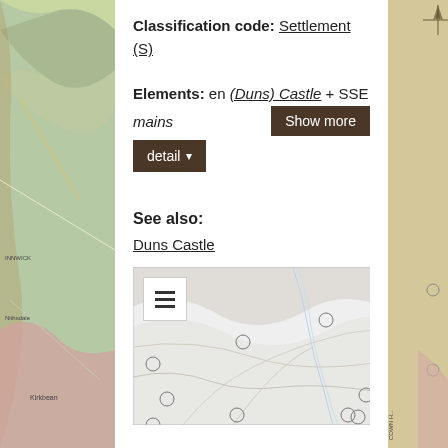Classification code: Settlement (S)
Elements: en (Duns) Castle + SSE mains
See also:
Duns Castle
[Figure (map): Interactive map thumbnail showing topographic/road map with several circle markers at various locations, and a hamburger menu icon in the top-left corner.]